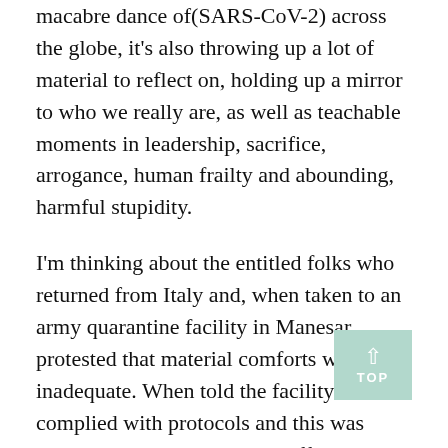macabre dance of(SARS-CoV-2) across the globe, it's also throwing up a lot of material to reflect on, holding up a mirror to who we really are, as well as teachable moments in leadership, sacrifice, arrogance, human frailty and abounding, harmful stupidity.
I'm thinking about the entitled folks who returned from Italy and, when taken to an army quarantine facility in Manesar, protested that material comforts were inadequate. When told the facility complied with protocols and this was going to be it, they made an offer they thought nobody would refuse: We can pay.
They did not pause to think what such an offer would